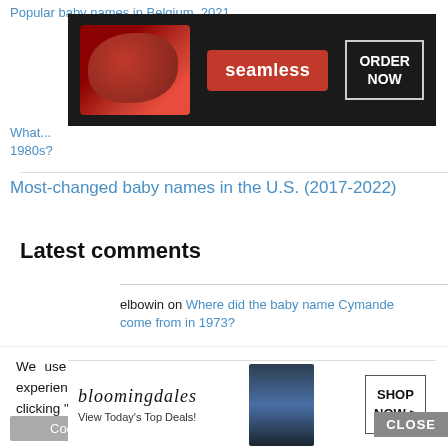Popular baby names in Belgium, 2021
[Figure (screenshot): Seamless food delivery advertisement banner showing pizza, seamless logo in red, and ORDER NOW button]
What... 1980s?
Most-changed baby names in the U.S. (2017-2022)
Latest comments
elbowin on Where did the baby name Cymande come from in 1973?
We use cookies on our website to give you the most relevant experience by remembering your preferences and repeat visits. By clicking “Accept”, you consent to the use of ALL the cookies.
Do not sell my personal information.
[Figure (screenshot): Bloomingdale's advertisement banner showing logo, View Today's Top Deals, model with hat, and SHOP NOW button]